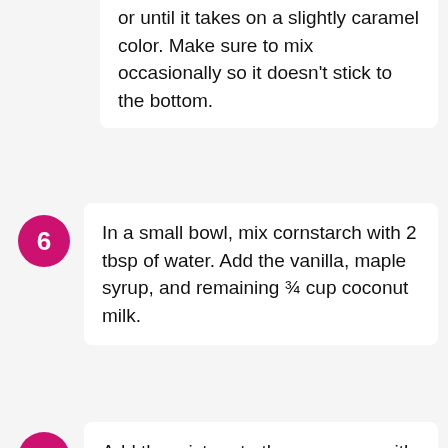or until it takes on a slightly caramel color. Make sure to mix occasionally so it doesn't stick to the bottom.
6. In a small bowl, mix cornstarch with 2 tbsp of water. Add the vanilla, maple syrup, and remaining ¾ cup coconut milk.
7. Add the mixture to the saucepan with the caramel (after 15-20 minutes). Mix constantly with a silicone spatula until the filling begins to thicken. Reduce to low heat and continue mixing for 6-9 more